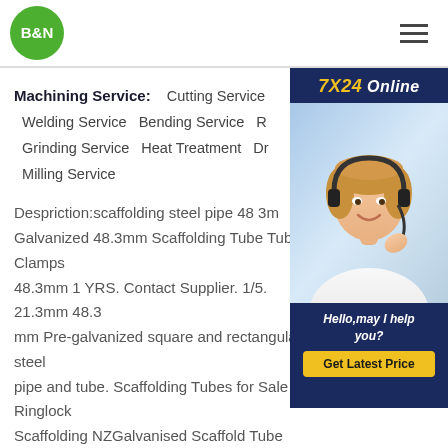B&N
Machining Service: Cutting Service Welding Service Bending Service R Grinding Service Heat Treatment Dr Milling Service
[Figure (photo): Customer service representative wearing a headset, smiling. 7X24 Online chat widget with 'Hello, may I help you?' and 'Get Latest Price' button.]
Despriction:scaffolding steel pipe 48 3m Galvanized 48.3mm Scaffolding Tube Tube Clamps 48.3mm 1 YRS. Contact Supplier. 1/5. 21.3mm 48.3 mm Pre-galvanized square and rectangular steel pipe and tube. Scaffolding Tubes for Sale Ringlock Scaffolding NZGalvanised Scaffold Tube Aluminium Pipe can be cut to any length and can be used as the